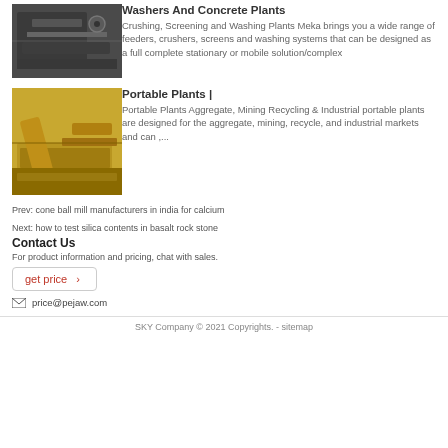[Figure (photo): Industrial washing/crushing equipment, dark metallic machinery]
Washers And Concrete Plants
Crushing, Screening and Washing Plants Meka brings you a wide range of feeders, crushers, screens and washing systems that can be designed as a full complete stationary or mobile solution/complex
[Figure (photo): Yellow portable aggregate/mining industrial plant equipment]
Portable Plants |
Portable Plants Aggregate, Mining Recycling & Industrial portable plants are designed for the aggregate, mining, recycle, and industrial markets and can ,...
Prev: cone ball mill manufacturers in india for calcium
Next: how to test silica contents in basalt rock stone
Contact Us
For product information and pricing, chat with sales.
get price ›
price@pejaw.com
SKY Company © 2021 Copyrights. - sitemap